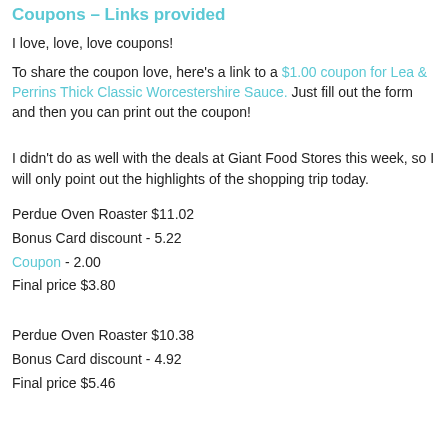Coupons – Links provided
I love, love, love coupons!
To share the coupon love, here's a link to a $1.00 coupon for Lea & Perrins Thick Classic Worcestershire Sauce. Just fill out the form and then you can print out the coupon!
I didn't do as well with the deals at Giant Food Stores this week, so I will only point out the highlights of the shopping trip today.
Perdue Oven Roaster $11.02
Bonus Card discount - 5.22
Coupon - 2.00
Final price $3.80
Perdue Oven Roaster $10.38
Bonus Card discount - 4.92
Final price $5.46